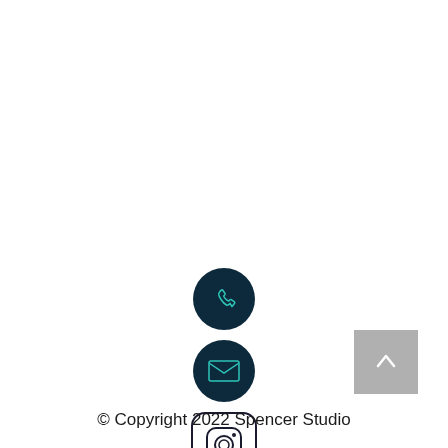[Figure (illustration): Three social media/contact icon buttons stacked vertically: a dark navy circle with a phone icon, a dark navy circle with an envelope/mail icon, and an Instagram icon with rounded square border. To the right is a grey back-to-top button with an upward chevron arrow.]
© Copyright 2022 Spencer Studio